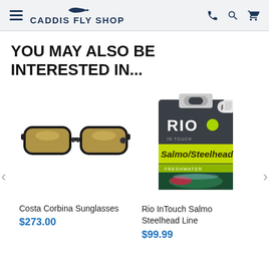CADDIS FLY SHOP
YOU MAY ALSO BE INTERESTED IN...
[Figure (photo): Costa Corbina Sunglasses - black frame sport sunglasses with gold mirrored lenses]
Costa Corbina Sunglasses
$273.00
[Figure (photo): Rio InTouch Salmo Steelhead Line - product box with dark grey and lime green design showing fish imagery]
Rio InTouch Salmo Steelhead Line
$99.99